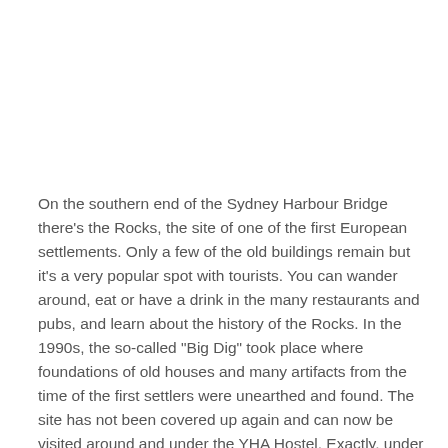On the southern end of the Sydney Harbour Bridge there's the Rocks, the site of one of the first European settlements. Only a few of the old buildings remain but it's a very popular spot with tourists. You can wander around, eat or have a drink in the many restaurants and pubs, and learn about the history of the Rocks. In the 1990s, the so-called "Big Dig" took place where foundations of old houses and many artifacts from the time of the first settlers were unearthed and found. The site has not been covered up again and can now be visited around and under the YHA Hostel. Exactly, under it: